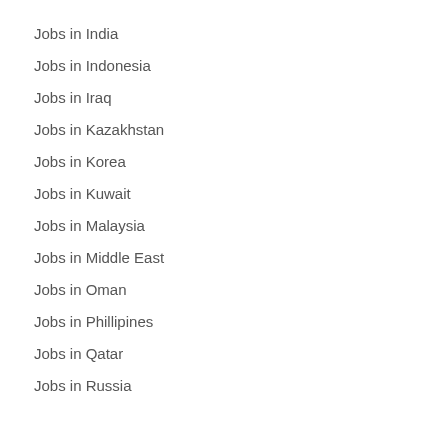Jobs in India
Jobs in Indonesia
Jobs in Iraq
Jobs in Kazakhstan
Jobs in Korea
Jobs in Kuwait
Jobs in Malaysia
Jobs in Middle East
Jobs in Oman
Jobs in Phillipines
Jobs in Qatar
Jobs in Russia